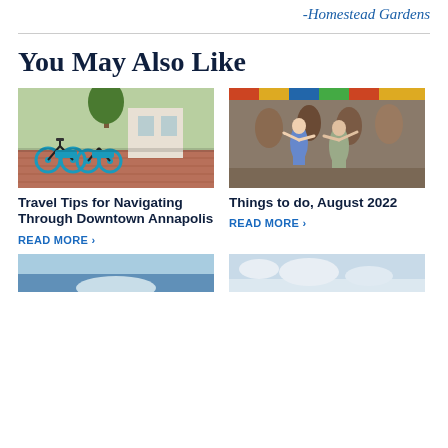-Homestead Gardens
You May Also Like
[Figure (photo): Bicycles parked on a brick sidewalk in downtown Annapolis]
Travel Tips for Navigating Through Downtown Annapolis
READ MORE >
[Figure (photo): People in colonial costumes dancing at an outdoor festival]
Things to do, August 2022
READ MORE >
[Figure (photo): Partial view of a coastal or sky scene (bottom left)]
[Figure (photo): Partial view of a sky with clouds (bottom right)]